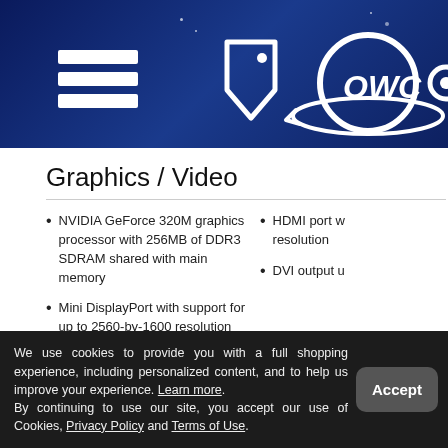[Figure (screenshot): OWC website header banner with dark blue gradient background, hamburger menu icon, price tag icon, and OWC logo with orbital ring]
Graphics / Video
NVIDIA GeForce 320M graphics processor with 256MB of DDR3 SDRAM shared with main memory
Mini DisplayPort with support for up to 2560-by-1600 resolution
HDMI port w resolution
DVI output u
Dimensions / Weight
We use cookies to provide you with a full shopping experience, including personalized content, and to help us improve your experience. Learn more. By continuing to use our site, you accept our use of Cookies, Privacy Policy and Terms of Use.